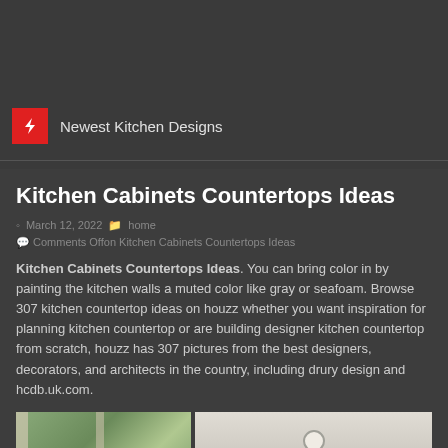Newest Kitchen Designs
Kitchen Cabinets Countertops Ideas
March 12, 2022   home
Comments Offon Kitchen Cabinets Countertops Ideas
Kitchen Cabinets Countertops Ideas. You can bring color in by painting the kitchen walls a muted color like gray or seafoam. Browse 307 kitchen countertop ideas on houzz whether you want inspiration for planning kitchen countertop or are building designer kitchen countertop from scratch, houzz has 307 pictures from the best designers, decorators, and architects in the country, including drury design and hcdb.uk.com.
[Figure (photo): Kitchen window and cabinetry photo]
[Figure (photo): Kitchen ceiling with recessed lighting photo]